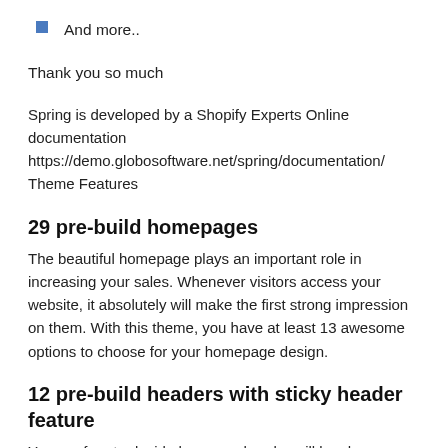And more..
Thank you so much
Spring is developed by a Shopify Experts Online documentation https://demo.globosoftware.net/spring/documentation/ Theme Features
29 pre-build homepages
The beautiful homepage plays an important role in increasing your sales. Whenever visitors access your website, it absolutely will make the first strong impression on them. With this theme, you have at least 13 awesome options to choose for your homepage design.
12 pre-build headers with sticky header feature
You are free to decide how your header will be shown up in horizontal or vertical style. Moreover, you can make your